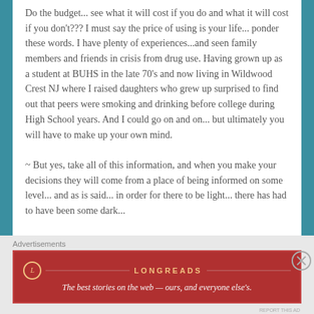Do the budget... see what it will cost if you do and what it will cost if you don't??? I must say the price of using is your life... ponder these words. I have plenty of experiences...and seen family members and friends in crisis from drug use. Having grown up as a student at BUHS in the late 70's and now living in Wildwood Crest NJ where I raised daughters who grew up surprised to find out that peers were smoking and drinking before college during High School years. And I could go on and on... but ultimately you will have to make up your own mind.

~ But yes, take all of this information, and when you make your decisions they will come from a place of being informed on some level... and as is said... in order for there to be light... there has had to have been some dark...
Advertisements
[Figure (other): Longreads advertisement banner. Red background with Longreads logo (L in circle) and text: The best stories on the web — ours, and everyone else's.]